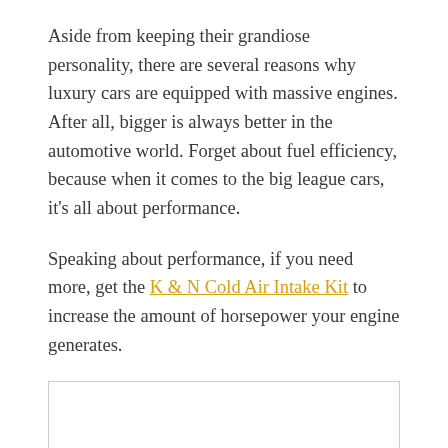Aside from keeping their grandiose personality, there are several reasons why luxury cars are equipped with massive engines. After all, bigger is always better in the automotive world. Forget about fuel efficiency, because when it comes to the big league cars, it's all about performance.
Speaking about performance, if you need more, get the K & N Cold Air Intake Kit to increase the amount of horsepower your engine generates.
[Figure (other): Empty image placeholder box with a thin border]